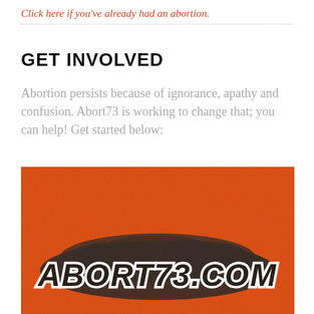Click here if you've already had an abortion.
GET INVOLVED
Abortion persists because of ignorance, apathy and confusion. Abort73 is working to change that; you can help! Get started below:
[Figure (photo): Orange textured background with Abort73.com logo text in dark gray with white outline, grunge style graphic with cloud/explosion shape around the text]